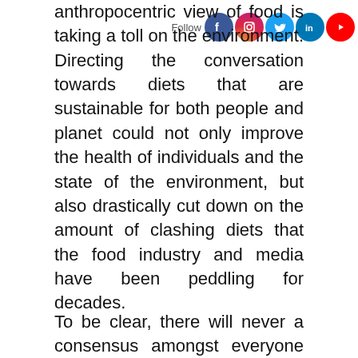anthropocentric view of food is taking a toll on the environment. Directing the conversation towards diets that are sustainable for both people and planet could not only improve the health of individuals and the state of the environment, but also drastically cut down on the amount of clashing diets that the food industry and media have been peddling for decades.
To be clear, there will never a consensus amongst everyone what diet is objectively the “best”. For example, take the Australian mom on Instagram who touts the benefits of feeding her young children a raw food, vegan diet, while over in Italy lawmakers proposed a bill that could send parents to prison for up to two years if they feed young children a vegan diet. During